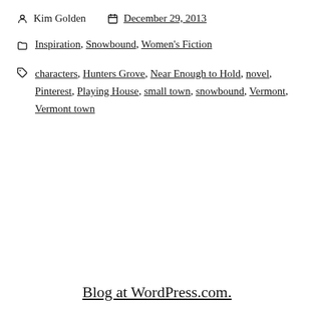Kim Golden   December 29, 2013
Inspiration, Snowbound, Women's Fiction
characters, Hunters Grove, Near Enough to Hold, novel, Pinterest, Playing House, small town, snowbound, Vermont, Vermont town
Blog at WordPress.com.